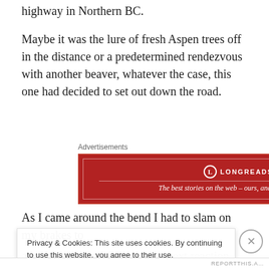highway in Northern BC.
Maybe it was the lure of fresh Aspen trees off in the distance or a predetermined rendezvous with another beaver, whatever the case, this one had decided to set out down the road.
[Figure (other): Longreads advertisement banner: red background with white border and logo. Text reads 'LONGREADS — The best stories on the web – ours, and everyone else's.']
As I came around the bend I had to slam on my brakes to avoid hitting it. Of course my next reaction was to pull
Privacy & Cookies: This site uses cookies. By continuing to use this website, you agree to their use.
To find out more, including how to control cookies, see here: Cookie Policy